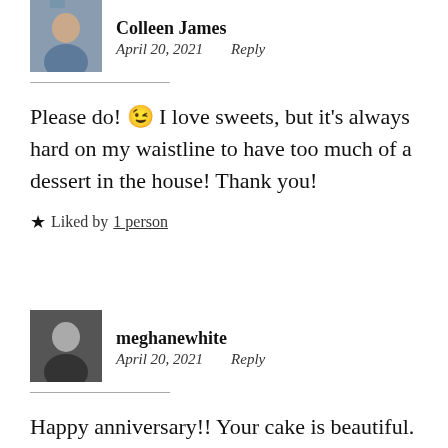Colleen James
April 20, 2021   Reply
Please do! 😉 I love sweets, but it's always hard on my waistline to have too much of a dessert in the house! Thank you!
★ Liked by 1 person
meghanewhite
April 20, 2021   Reply
Happy anniversary!! Your cake is beautiful. You did an amazing job. Makes me want to be on a